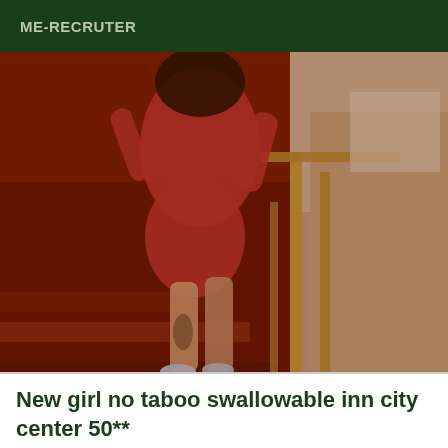ME-RECRUTER
[Figure (photo): A person wearing a red dress and silver high heels standing on wooden stairs, photographed from below. The person has a tattoo visible on their leg. Interior scene with wooden banister visible.]
New girl no taboo swallowable inn city center 50**